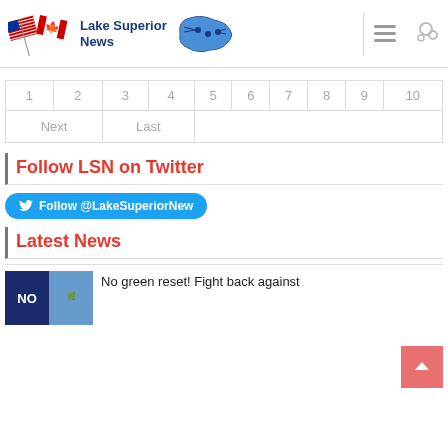Lake Superior News
| 1 | 2 | 3 | 4 | 5 | 6 | 7 | 8 | 9 | 10 |
| --- | --- | --- | --- | --- | --- | --- | --- | --- | --- |
| Next | Last |  |  |  |  |  |  |  |  |
Follow LSN on Twitter
Follow @LakeSuperiorNew
Latest News
No green reset! Fight back against